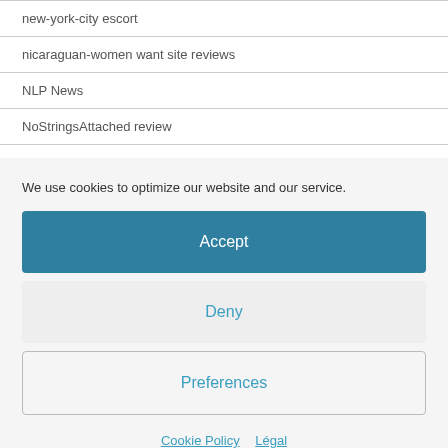new-york-city escort
nicaraguan-women want site reviews
NLP News
NoStringsAttached review
We use cookies to optimize our website and our service.
Accept
Deny
Preferences
Cookie Policy   Légal